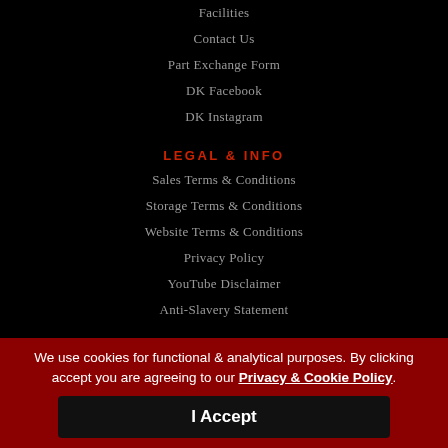Facilities
Contact Us
Part Exchange Form
DK Facebook
DK Instagram
LEGAL & INFO
Sales Terms & Conditions
Storage Terms & Conditions
Website Terms & Conditions
Privacy Policy
YouTube Disclaimer
Anti-Slavery Statement
CREDITS
Salterns Media
Scott Davis Photography
We use cookies for functional & analytical purposes. By clicking accept you are agreeing to our Privacy & Cookie Policy.
I Accept